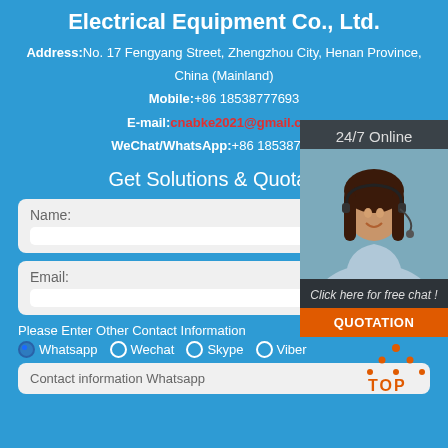Electrical Equipment Co., Ltd.
Address: No. 17 Fengyang Street, Zhengzhou City, Henan Province, China (Mainland)
Mobile: +86 18538777693
E-mail: cnabke2021@gmail.com
WeChat/WhatsApp: +86 18538777693
Get Solutions & Quotation
Name:
Email:
Please Enter Other Contact Information
Whatsapp
Wechat
Skype
Viber
Contact information Whatsapp
[Figure (photo): 24/7 Online customer service representative with headset, sidebar panel with chat and quotation button]